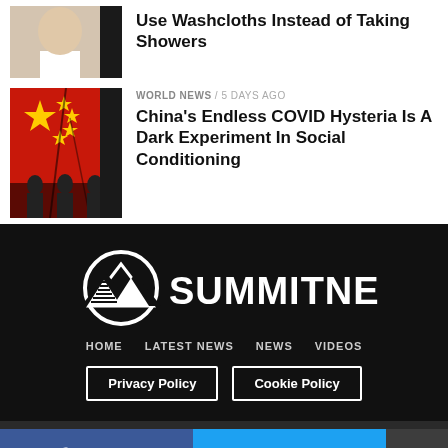[Figure (photo): Portrait photo of older man in white shirt]
Use Washcloths Instead of Taking Showers
[Figure (photo): Chinese flag with crack, silhouettes of people]
WORLD NEWS / 5 days ago
China's Endless COVID Hysteria Is A Dark Experiment In Social Conditioning
[Figure (logo): Summit News logo - white mountain/pyramid icon with SUMMITNEWS text on black background]
HOME   LATEST NEWS   NEWS   VIDEOS
Privacy Policy   Cookie Policy
SHARE   TWEET   ...